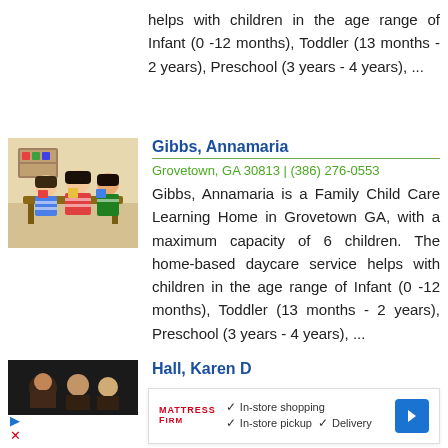helps with children in the age range of Infant (0 -12 months), Toddler (13 months - 2 years), Preschool (3 years - 4 years), ...
[Figure (photo): Children playing with colorful blocks at a table in a classroom setting]
Gibbs, Annamaria
Grovetown, GA 30813 | (386) 276-0553
Gibbs, Annamaria is a Family Child Care Learning Home in Grovetown GA, with a maximum capacity of 6 children. The home-based daycare service helps with children in the age range of Infant (0 -12 months), Toddler (13 months - 2 years), Preschool (3 years - 4 years), ...
[Figure (photo): Dark photo of children]
Hall, Karen D
[Figure (screenshot): Advertisement for Mattress Firm showing in-store shopping, in-store pickup, and delivery options with a blue arrow icon]